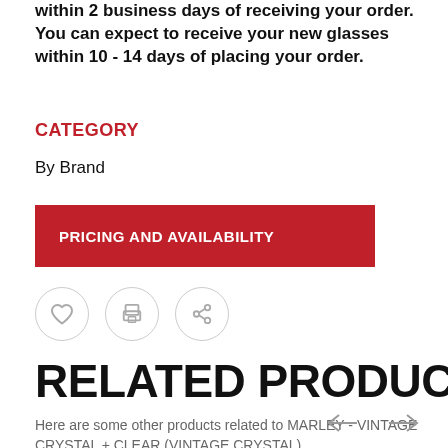within 2 business days of receiving your order. You can expect to receive your new glasses within 10 - 14 days of placing your order.
CATEGORY
By Brand
[Figure (other): Red button labeled PRICING AND AVAILABILITY]
[Figure (other): Three circular icon buttons: heart (favorite), printer (print), and share]
RELATED PRODUCTS
Here are some other products related to MARLEY - VINTAGE CRYSTAL + CLEAR (VINTAGE CRYSTAL)
[Figure (other): Left and right navigation arrows]